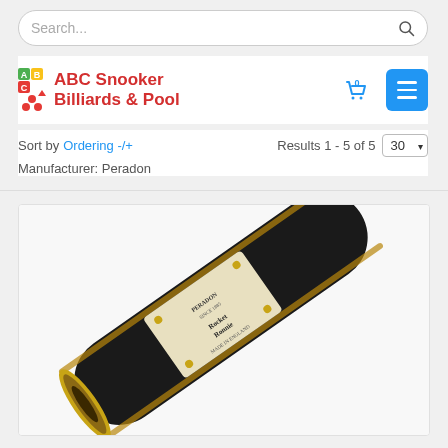Search...
[Figure (logo): ABC Snooker Billiards & Pool logo with colored blocks and red triangle/balls icon]
Sort by  Ordering -/+    Results 1 - 5 of 5    30  Manufacturer: Peradon
[Figure (photo): Close-up photo of a Peradon Rocket Ronnie snooker cue butt end, showing ivory/cream splice plate with gold screws, black finish, and gold ferrule end cap. Label reads PERADON, Rocket Ronnie, Made in England.]